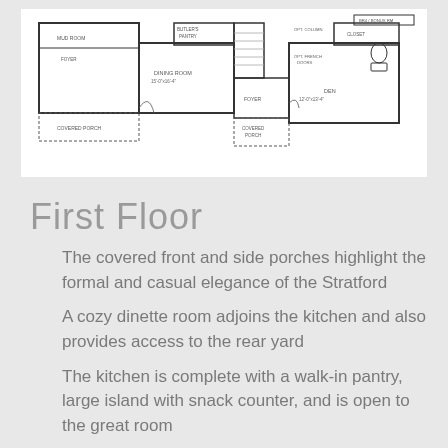[Figure (engineering-diagram): First floor architectural plan showing covered porches, dining room, foyer, den, closet, butler's pantry, mud room, and optional french doors and columns. Various room dimensions labeled.]
First Floor
The covered front and side porches highlight the formal and casual elegance of the Stratford
A cozy dinette room adjoins the kitchen and also provides access to the rear yard
The kitchen is complete with a walk-in pantry, large island with snack counter, and is open to the great room